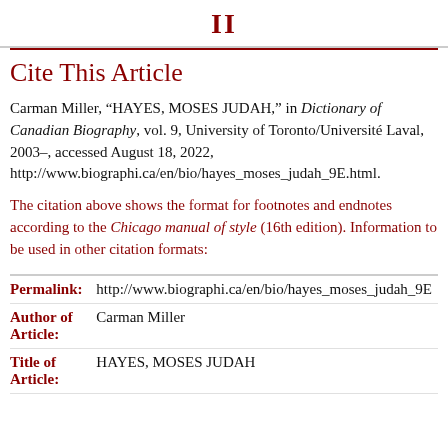II
Cite This Article
Carman Miller, “HAYES, MOSES JUDAH,” in Dictionary of Canadian Biography, vol. 9, University of Toronto/Université Laval, 2003–, accessed August 18, 2022, http://www.biographi.ca/en/bio/hayes_moses_judah_9E.html.
The citation above shows the format for footnotes and endnotes according to the Chicago manual of style (16th edition). Information to be used in other citation formats:
| Field | Value |
| --- | --- |
| Permalink: | http://www.biographi.ca/en/bio/hayes_moses_judah_9E |
| Author of Article: | Carman Miller |
| Title of Article: | HAYES, MOSES JUDAH |